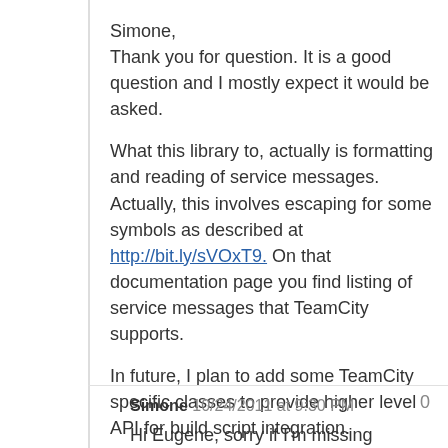Simone,
Thank you for question. It is a good question and I mostly expect it would be asked.
What this library to, actually is formatting and reading of service messages. Actually, this involves escaping for some symbols as described at http://bit.ly/sVOxT9. On that documentation page you find listing of service messages that TeamCity supports.
In future, I plan to add some TeamCity specific classes to provide higher level API for build script integration.
For example, you may consider using this library to report tests or publishes build artifacts.
Reply • Hide
Simone 10/24/2011 at 9:30 PM  0
Hi Eugene, sorry if I'm missing something, but